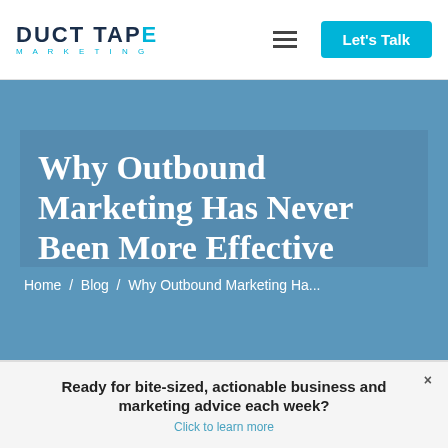[Figure (logo): Duct Tape Marketing logo: stylized text 'DUCT TAPE' in dark navy with 'MARKETING' in small cyan caps below, and cyan-colored E in TAPE]
[Figure (other): Hamburger menu icon (three horizontal lines)]
[Figure (other): Cyan button labeled 'Let's Talk']
Why Outbound Marketing Has Never Been More Effective
Home / Blog / Why Outbound Marketing Ha...
Ready for bite-sized, actionable business and marketing advice each week?
Click to learn more